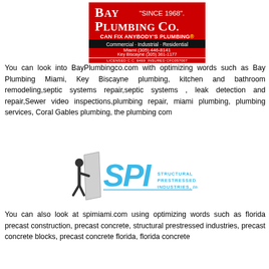[Figure (logo): Bay Plumbing Co. logo on red background. Text reads: BAY "SINCE 1968". PLUMBING CO. CAN FIX ANYBODY'S PLUMBING. Commercial · Industrial · Residential. Miami (305) 446-8141. Key Biscayne (305) 361-1177. LICENSED C.C. 6469 INSURED CFC057007]
You can look into BayPlumbingco.com with optimizing words such as Bay Plumbing Miami, Key Biscayne plumbing, kitchen and bathroom remodeling,septic systems repair,septic systems , leak detection and repair,Sewer video inspections,plumbing repair, miami plumbing, plumbing services, Coral Gables plumbing, the plumbing com
[Figure (logo): SPI - Structural Prestressed Industries, Inc. logo with a figure and blue SPI letters]
You can also look at spimiami.com using optimizing words such as florida precast construction, precast concrete, structural prestressed industries, precast concrete blocks, precast concrete florida, florida concrete